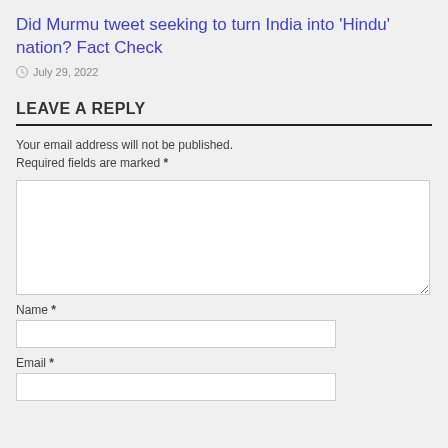Did Murmu tweet seeking to turn India into 'Hindu' nation? Fact Check
July 29, 2022
LEAVE A REPLY
Your email address will not be published. Required fields are marked *
Name *
Email *